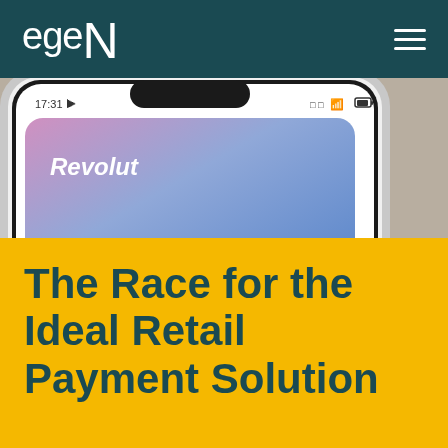egeN
[Figure (photo): Close-up photo of a smartphone showing a Revolut card (gradient blue-purple) on its screen, taken at an angle on a light gray background. The phone displays time 17:31 and shows the Revolut app with a card visible.]
The Race for the Ideal Retail Payment Solution